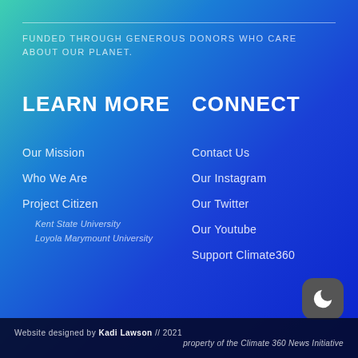FUNDED THROUGH GENEROUS DONORS WHO CARE ABOUT OUR PLANET.
LEARN MORE
CONNECT
Our Mission
Who We Are
Project Citizen
Kent State University
Loyola Marymount University
Contact Us
Our Instagram
Our Twitter
Our Youtube
Support Climate360
🔔 Get Notified on the Latest News!
Website designed by Kadi Lawson // 2021 property of the Climate 360 News Initiative